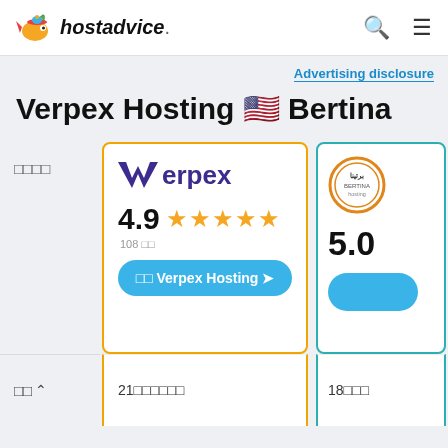[Figure (logo): HostAdvice logo with fish mascot and bold italic text 'hostadvice.']
hostadvice.
Advertising disclosure
Verpex Hosting ?? Bertina
????
[Figure (logo): Verpex logo in purple/dark blue]
4.9 ★★★★★ 108 ??
?? Verpex Hosting →
5.0
[Figure (logo): Bertina circular badge logo]
??
21??????
18???